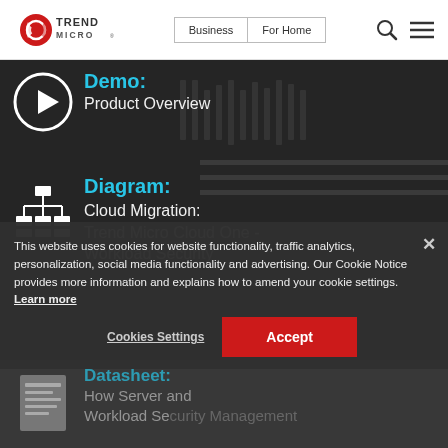[Figure (logo): Trend Micro logo — red swirl with TREND MICRO text]
Business | For Home
Demo:
Product Overview
Diagram:
Cloud Migration: Trend Micro Cloud One - Workload Security
Datasheet:
How Server and Workload Security Management
This website uses cookies for website functionality, traffic analytics, personalization, social media functionality and advertising. Our Cookie Notice provides more information and explains how to amend your cookie settings. Learn more
Cookies Settings
Accept